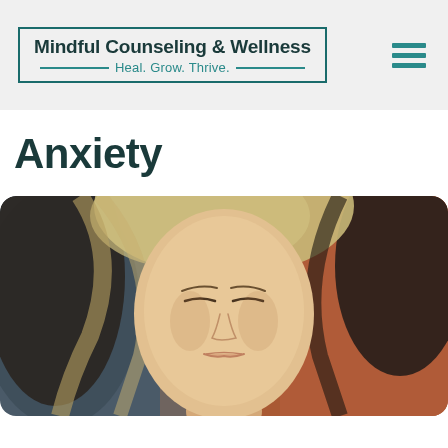Mindful Counseling & Wellness — Heal. Grow. Thrive.
Anxiety
[Figure (photo): Close-up photo of a young woman with eyes closed, head slightly tilted back, long wavy hair blowing, against a blurred reddish-brown and dark background, conveying calm or mindfulness.]